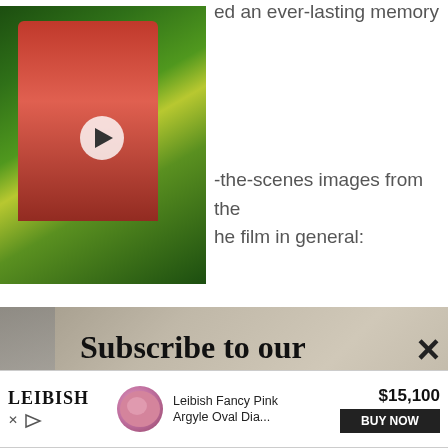ed an ever-lasting memory
[Figure (screenshot): Video thumbnail showing a person in a pink/red shirt with a play button overlay, against a garden/outdoor background]
-the-scenes images from the he film in general:
Subscribe to our newsletter
Your e-mail address   SIGN UP
[Figure (photo): Behind-the-scenes photo showing a green screen film set with scaffolding and equipment]
[Figure (infographic): Advertisement banner: LEIBISH logo, pink diamond image, Leibish Fancy Pink Argyle Oval Dia... $15,100 BUY NOW]